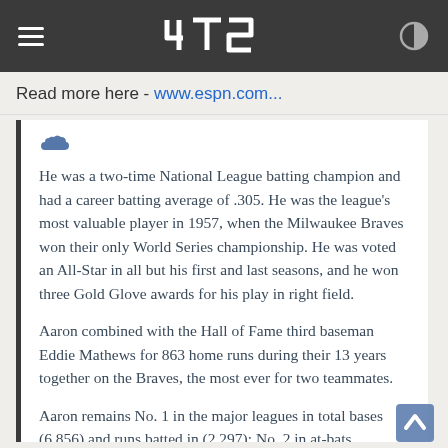ATS AboveTopSecret
Read more here - www.espn.com...
He was a two-time National League batting champion and had a career batting average of .305. He was the league's most valuable player in 1957, when the Milwaukee Braves won their only World Series championship. He was voted an All-Star in all but his first and last seasons, and he won three Gold Glove awards for his play in right field.
Aaron combined with the Hall of Fame third baseman Eddie Mathews for 863 home runs during their 13 years together on the Braves, the most ever for two teammates.
Aaron remains No. 1 in the major leagues in total bases (6,856) and runs batted in (2,297); No. 2 in at-bats (12,364), behind Pete Rose; and No. 3 in hits (3,771), behind Rose and Cobb. He won the National League's single-season home run title four times, though his highest total was only 47, in 1971. Matching his jersey number, he hit exactly 44 home runs in four different seasons.